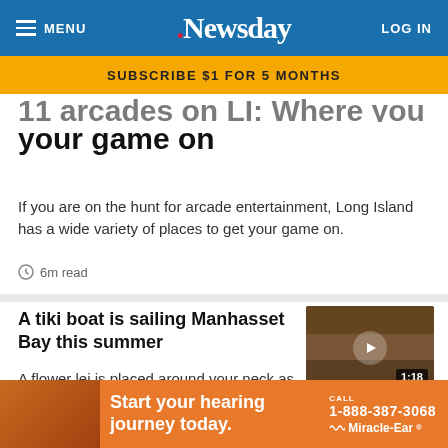MENU   .Newsday   LOG IN
SUBSCRIBE $1 FOR 5 MONTHS
11 arcades on LI: Where you can get your game on
If you are on the hunt for arcade entertainment, Long Island has a wide variety of places to get your game on.
6m read
A tiki boat is sailing Manhasset Bay this summer
A flower lei is placed around your neck as you step onto an open-air boat with a thatched tiki-hut bar — have you teleported to Hawaii?
[Figure (photo): Video thumbnail showing people on a tiki boat with thatched roof, duration 1:18]
2m read
[Figure (photo): Advertisement: Start your hearing journey today. CALL 1-888-387-3068. Miracle-Ear logo.]